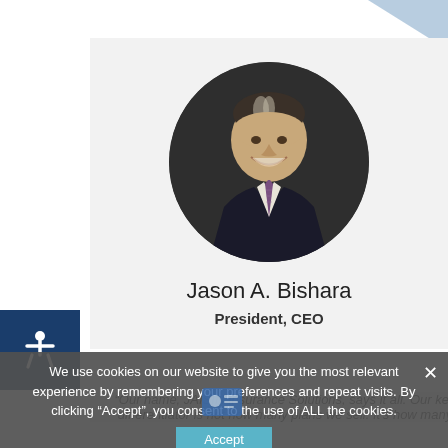[Figure (photo): Circular headshot photo of Jason A. Bishara, a middle-aged man with salt-and-pepper hair, wearing a dark suit and purple tie, smiling, on a dark circular background]
Jason A. Bishara
President, CEO
We use cookies on our website to give you the most relevant experience by remembering your preferences and repeat visits. By clicking “Accept”, you consent to the use of ALL the cookies.
“Our name, JAISIN Insurance Solutions, says it all. Our key differentiator is not how many plans we sell. It’s how many…